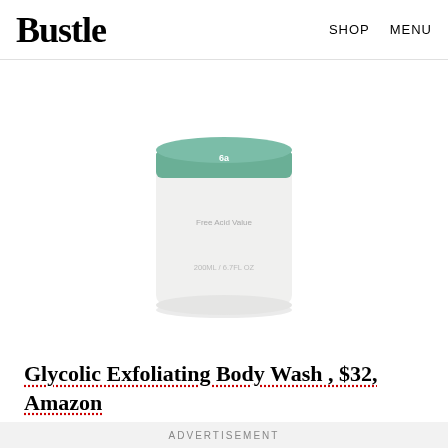Bustle  SHOP  MENU
[Figure (photo): A white cylindrical jar of Glycolic Exfoliating Body Wash with a green/teal lid, showing text 'Free Acid Value' and '200ML / 6.7FL OZ']
Glycolic Exfoliating Body Wash , $32, Amazon
ADVERTISEMENT